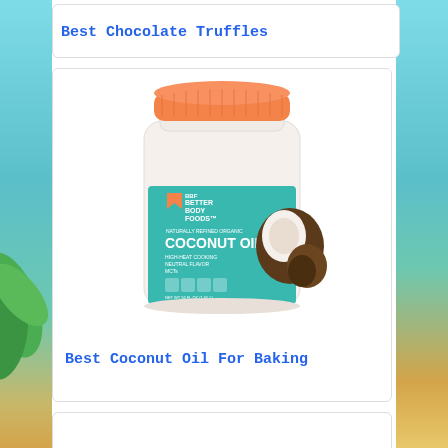Best Chocolate Truffles
[Figure (photo): A large jar of BetterBody Foods Naturally Refined Organic Coconut Oil with an orange lid, featuring a teal label with coconut imagery]
Best Coconut Oil For Baking